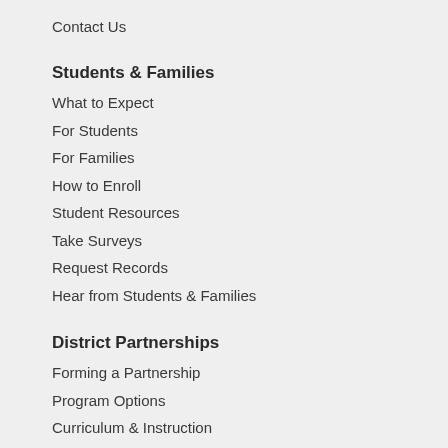Contact Us
Students & Families
What to Expect
For Students
For Families
How to Enroll
Student Resources
Take Surveys
Request Records
Hear from Students & Families
District Partnerships
Forming a Partnership
Program Options
Curriculum & Instruction